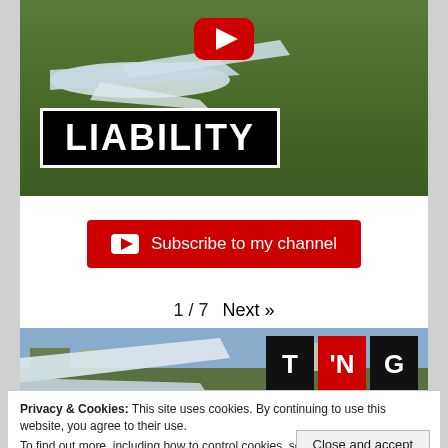[Figure (screenshot): YouTube video thumbnail showing a crashed RC plane on grass with 'LIABILITY' text overlay and YouTube play button]
Subscribe to my channel
1 / 7  Next »
[Figure (screenshot): RC plane crash video thumbnail with T'NG logo badge in top right]
Privacy & Cookies: This site uses cookies. By continuing to use this website, you agree to their use.
To find out more, including how to control cookies, see here: Cookie Policy
Close and accept
LIABILITY